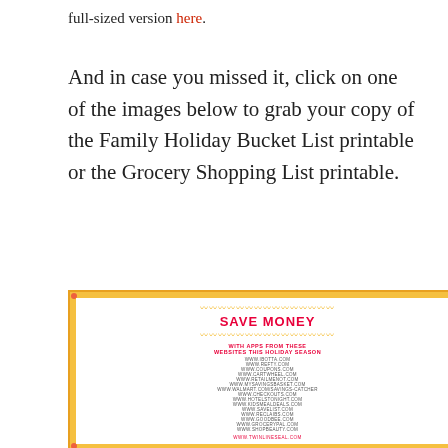full-sized version here.
And in case you missed it, click on one of the images below to grab your copy of the Family Holiday Bucket List printable or the Grocery Shopping List printable.
[Figure (illustration): Thumbnail of a 'Save Money' grocery shopping list printable with a decorative orange border and red text listing various shopping websites.]
[Figure (illustration): Thumbnail of a 'Family Holiday Bucket List' printable with orange border, red title text, and columns for TRADITION and COMMUNITY.]